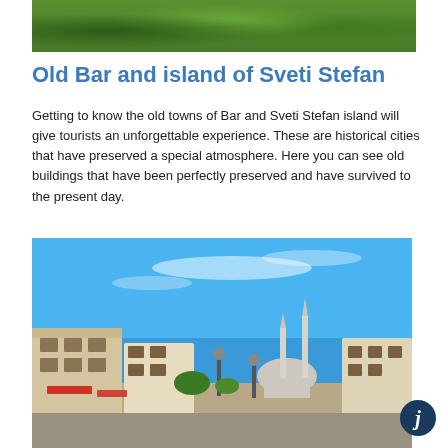[Figure (photo): Green forested hillside, top portion of a landscape photo]
Old Bar and island of Sveti Stefan
Getting to know the old towns of Bar and Sveti Stefan island will give tourists an unforgettable experience. These are historical cities that have preserved a special atmosphere. Here you can see old buildings that have been perfectly preserved and have survived to the present day.
[Figure (photo): Street scene in Bar, Montenegro showing old buildings, street lamps, and a mosque with minarets under a clear blue sky]